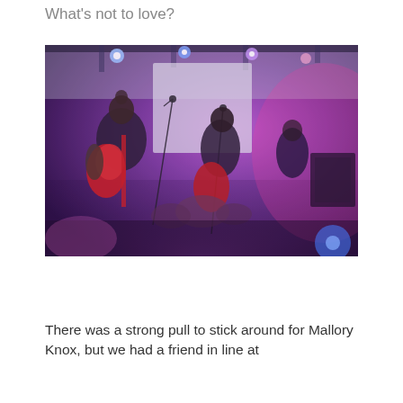What's not to love?
[Figure (photo): A rock band performing on a stage bathed in blue and purple stage lighting. Two guitarists are visible in the foreground, one with a red electric guitar and long hair/beard, the other singing into a microphone while playing a red guitar. A drummer is visible in the background. The venue appears to be a small indoor concert hall.]
There was a strong pull to stick around for Mallory Knox, but we had a friend in line at